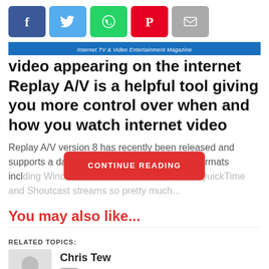[Figure (other): Social sharing buttons: Facebook (blue), Twitter (light blue), WhatsApp (green), Pinterest (red), Email (gray)]
Internet TV & Video Entertainment Magazine
video appearing on the internet Replay A/V is a helpful tool giving you more control over when and how you watch internet video
Replay A/V version 8 has recently been released and supports a damn fine selection of streaming formats incl... Flash, QuickTime and Shoutcast streams so pretty much...
CONTINUE READING
You may also like...
RELATED TOPICS:
Chris Tew